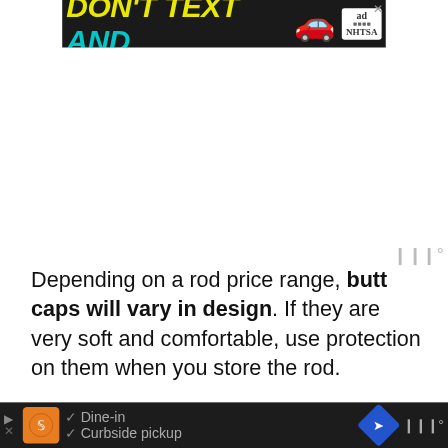[Figure (screenshot): Advertisement banner: DON'T TEXT AND [car emoji] with ad and NHTSA branding on dark background, with close X button]
Depending on a rod price range, butt caps will vary in design. If they are very soft and comfortable, use protection on them when you store the rod.
[Figure (screenshot): Bottom advertisement strip on dark background showing restaurant logo, checkmarks for Dine-in and Curbside pickup, navigation arrow icon, and weather widget]